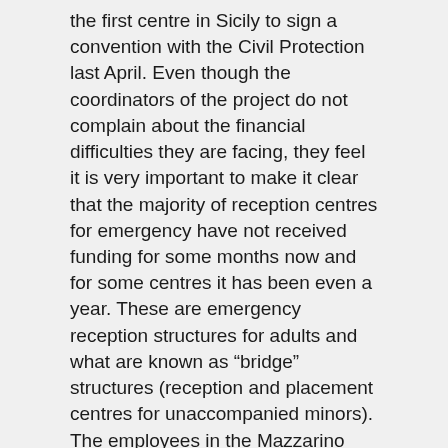the first centre in Sicily to sign a convention with the Civil Protection last April. Even though the coordinators of the project do not complain about the financial difficulties they are facing, they feel it is very important to make it clear that the majority of reception centres for emergency have not received funding for some months now and for some centres it has been even a year. These are emergency reception structures for adults and what are known as “bridge” structures (reception and placement centres for unaccompanied minors). The employees in the Mazzarino centre have in these months on the express request of the Civil Protection, provided free legal consultation for the ten similar structures throughout Sicily. This has been a major boost to...